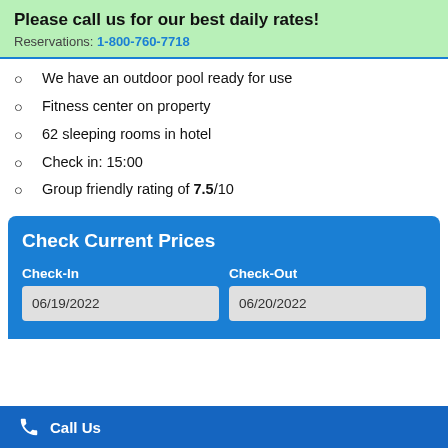Please call us for our best daily rates!
Reservations: 1-800-760-7718
We have an outdoor pool ready for use
Fitness center on property
62 sleeping rooms in hotel
Check in: 15:00
Group friendly rating of 7.5/10
Check Current Prices
Check-In: 06/19/2022
Check-Out: 06/20/2022
Call Us